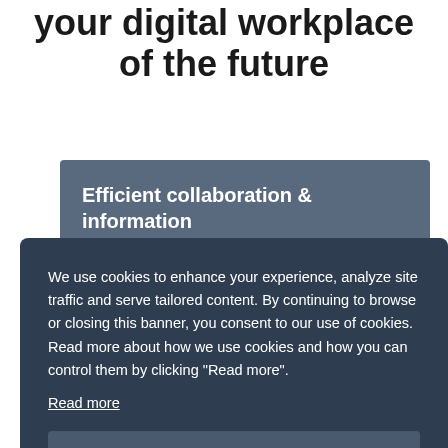your digital workplace of the future
Efficient collaboration & information
We use cookies to enhance your experience, analyze site traffic and serve tailored content. By continuing to browse or closing this banner, you consent to our use of cookies. Read more about how we use cookies and how you can control them by clicking "Read more".
Read more
Accept Cookies
nd